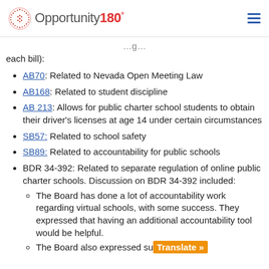Opportunity180°
each bill):
AB70: Related to Nevada Open Meeting Law
AB168: Related to student discipline
AB 213: Allows for public charter school students to obtain their driver's licenses at age 14 under certain circumstances
SB57: Related to school safety
SB89: Related to accountability for public schools
BDR 34-392: Related to separate regulation of online public charter schools. Discussion on BDR 34-392 included:
The Board has done a lot of accountability work regarding virtual schools, with some success. They expressed that having an additional accountability tool would be helpful.
The Board also expressed su…